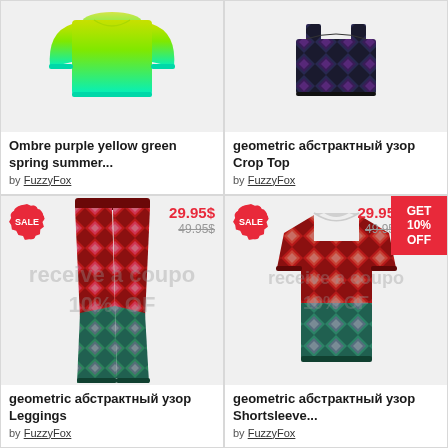[Figure (photo): Ombre purple yellow green spring summer clothing item on light background]
Ombre purple yellow green spring summer...
by FuzzyFox
[Figure (photo): Geometric abstract pattern dark argyle Crop Top on light background]
geometric абстрактный узор Crop Top
by FuzzyFox
[Figure (photo): Geometric abstract pattern argyle red green Leggings with SALE badge, price 29.95$ sale from 49.95$]
geometric абстрактный узор Leggings
by FuzzyFox
[Figure (photo): Geometric abstract pattern argyle red green Shortsleeve shirt with SALE badge, price 29.95$ sale from 49.95$, GET 10% OFF banner]
geometric абстрактный узор Shortsleeve...
by FuzzyFox